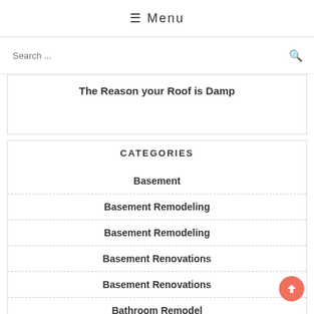☰ Menu
Search ...
The Reason your Roof is Damp
CATEGORIES
Basement
Basement Remodeling
Basement Remodeling
Basement Renovations
Basement Renovations
Bathroom Remodel